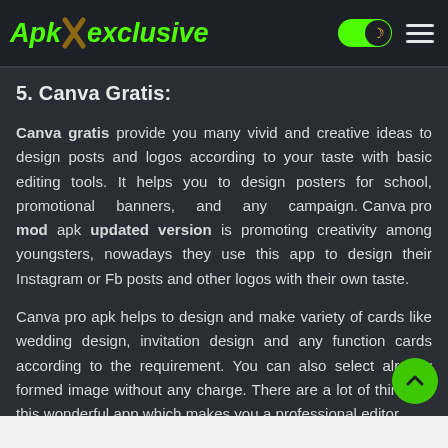ApkXexclusive
5. Canva Gratis:
Canva gratis provide you many vivid and creative ideas to design posts and logos according to your taste with basic editing tools. It helps you to design posters for school, promotional banners, and any campaign. Canva pro mod apk updated version is promoting creativity among youngsters, nowadays they use this app to design their Instagram or Fb posts and other logos with their own taste.
Canva pro apk helps to design and make variety of cards like wedding design, invitation design and any function cards according to the requirement. You can also select already formed image without any charge. There are a lot of things in this wonderful app which makes you a professional editor.